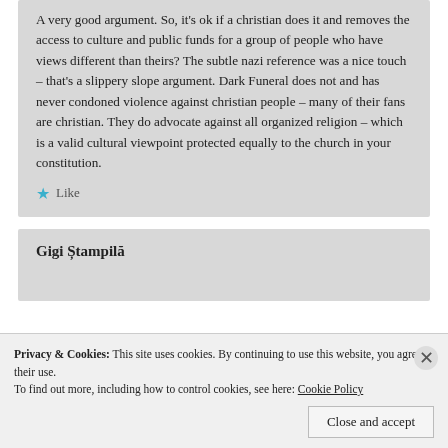A very good argument. So, it's ok if a christian does it and removes the access to culture and public funds for a group of people who have views different than theirs? The subtle nazi reference was a nice touch – that's a slippery slope argument. Dark Funeral does not and has never condoned violence against christian people – many of their fans are christian. They do advocate against all organized religion – which is a valid cultural viewpoint protected equally to the church in your constitution.
Like
Gigi Ștampilă
Privacy & Cookies: This site uses cookies. By continuing to use this website, you agree to their use.
To find out more, including how to control cookies, see here: Cookie Policy
Close and accept